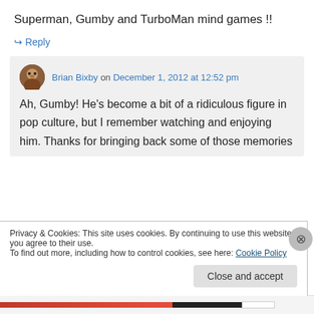Superman, Gumby and TurboMan mind games !!
↪ Reply
Brian Bixby on December 1, 2012 at 12:52 pm
Ah, Gumby! He's become a bit of a ridiculous figure in pop culture, but I remember watching and enjoying him. Thanks for bringing back some of those memories
Privacy & Cookies: This site uses cookies. By continuing to use this website, you agree to their use.
To find out more, including how to control cookies, see here: Cookie Policy
Close and accept